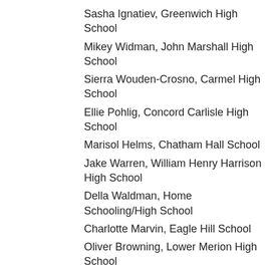Sasha Ignatiev, Greenwich High School
Mikey Widman, John Marshall High School
Sierra Wouden-Crosno, Carmel High School
Ellie Pohlig, Concord Carlisle High School
Marisol Helms, Chatham Hall School
Jake Warren, William Henry Harrison High School
Della Waldman, Home Schooling/High School
Charlotte Marvin, Eagle Hill School
Oliver Browning, Lower Merion High School
Elaina Berdyck, Mount Lebanon High School
Ellie Streeper, Needham High School
Emmanuel Smirnakis, Boston University Academy
Melody Berenbaum, Middlebury Union